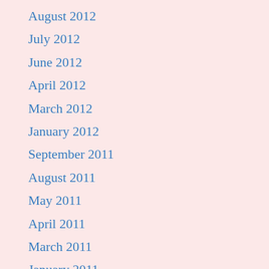August 2012
July 2012
June 2012
April 2012
March 2012
January 2012
September 2011
August 2011
May 2011
April 2011
March 2011
January 2011